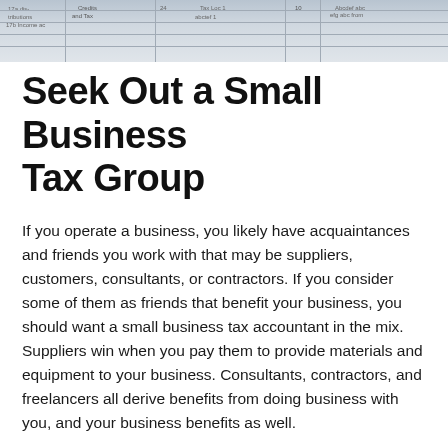[Figure (photo): Partial view of a tax or accounting form document, showing printed form fields and text including 'distributions', 'Credits and Tax', and other partially visible form labels.]
Seek Out a Small Business Tax Group
If you operate a business, you likely have acquaintances and friends you work with that may be suppliers, customers, consultants, or contractors. If you consider some of them as friends that benefit your business, you should want a small business tax accountant in the mix. Suppliers win when you pay them to provide materials and equipment to your business. Consultants, contractors, and freelancers all derive benefits from doing business with you, and your business benefits as well.
The one business association you may find more of a partner in profits than the others would be a small